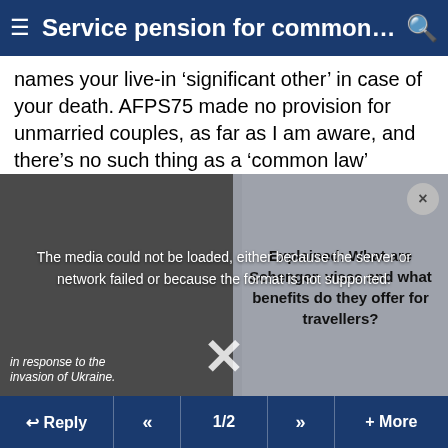Service pension for common la...
names your live-in 'significant other' in case of your death. AFPS75 made no provision for unmarried couples, as far as I am aware, and there's no such thing as a 'common law'
[Figure (screenshot): Video player overlay showing error message 'The media could not be loaded, either because the server or network failed or because the format is not supported.' On the right side is text: 'Explained: What are Schengen visas and what benefits do they offer for travellers?' with a close button (X) and a large X dismiss button at the bottom. Bottom left shows text 'in response to the invasion of Ukraine.']
Killaroo , 19th Oct 2021 02:42
I'm surprised the Gay Lobby hasn't fixed this yet!
Reply | << | 1/2 | >> | + More